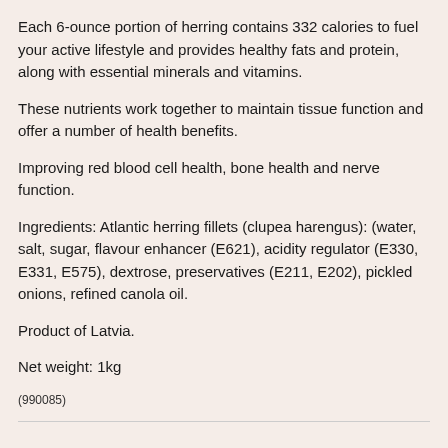Each 6-ounce portion of herring contains 332 calories to fuel your active lifestyle and provides healthy fats and protein, along with essential minerals and vitamins.
These nutrients work together to maintain tissue function and offer a number of health benefits.
Improving red blood cell health, bone health and nerve function.
Ingredients: Atlantic herring fillets (clupea harengus): (water, salt, sugar, flavour enhancer (E621), acidity regulator (E330, E331, E575), dextrose, preservatives (E211, E202), pickled onions, refined canola oil.
Product of Latvia.
Net weight: 1kg
(990085)
Others Also Bought